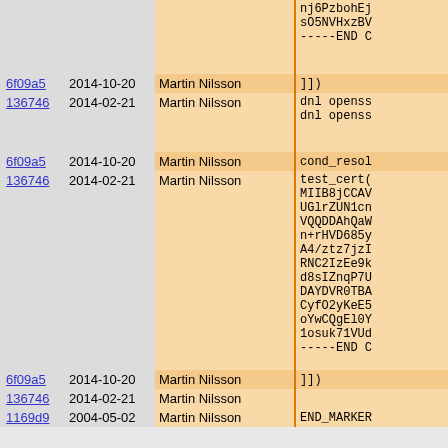| commit | date | author | code |
| --- | --- | --- | --- |
|  |  |  | nj6PzbohEj
sO5NVHxzBV
-----END C |
| 6f09a5 | 2014-10-20 | Martin Nilsson | ]]) |
| 136746 | 2014-02-21 | Martin Nilsson | dnl openss
dnl openss |
| 6f09a5 | 2014-10-20 | Martin Nilsson | cond_resol |
| 136746 | 2014-02-21 | Martin Nilsson | test_cert(
MIIB8jCCAV
UGlrZUN1cn
VQQDDAhQaW
n+rHVD685y
A4/ztz7jzI
RNC2IzEe9k
d8sIZnqP7U
DAYDVR0TBA
CyfO2yKeE5
oYwCQgEl0Y
1osuk71VUd
-----END C |
| 6f09a5 | 2014-10-20 | Martin Nilsson | ]]) |
| 136746 | 2014-02-21 | Martin Nilsson |  |
| 1169d9 | 2004-05-02 | Martin Nilsson | END_MARKER |